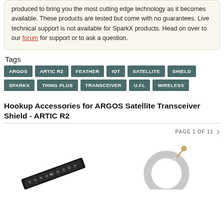produced to bring you the most cutting edge technology as it becomes available. These products are tested but come with no guarantees. Live technical support is not available for SparkX products. Head on over to our forum for support or to ask a question.
Tags
ARGOS  ARTIC R2  FEATHER  IOT  SATELLITE  SHIELD  SPARKX  THING PLUS  TRANSCEIVER  U.FL  WIRELESS
Hookup Accessories for ARGOS Satellite Transceiver Shield - ARTIC R2
PAGE 1 OF 11
[Figure (photo): Product photo: a small black rectangular PCB/header strip component]
[Figure (photo): Product photo: a circular antenna with a U.FL connector and cable]